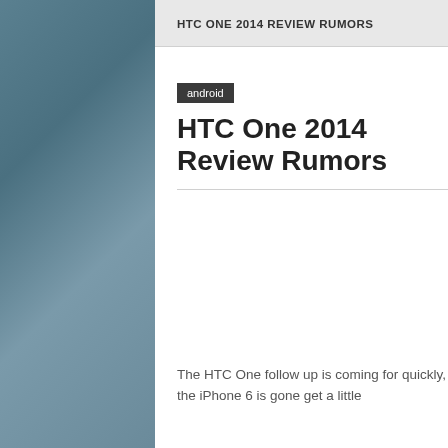HTC ONE 2014 REVIEW RUMORS
android
HTC One 2014 Review Rumors
The HTC One follow up is coming for quickly, supposing the iPhone 6 is gone get a little